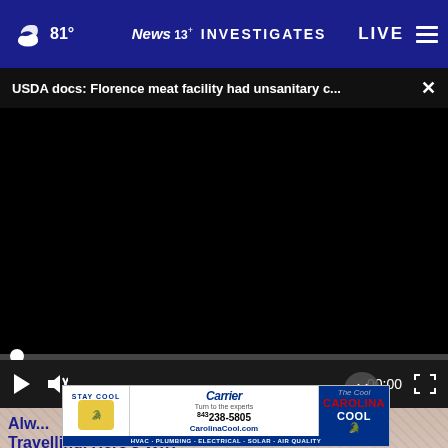81° News 13 INVESTIGATES LIVE
USDA docs: Florence meat facility had unsanitary c...
[Figure (screenshot): Black video player area with play controls, progress bar, timestamp 00:00, and fullscreen button]
[Figure (photo): Partial background image visible below video player]
[Figure (other): Carrier / Carolina Cool advertisement banner: STAY COOL, 843-238-5805, CarolinaCool.com, HVAC · PLUMBING · ELECTRICAL · SOLAR · AIR QUALITY]
Alw... Travelling, Here's Why